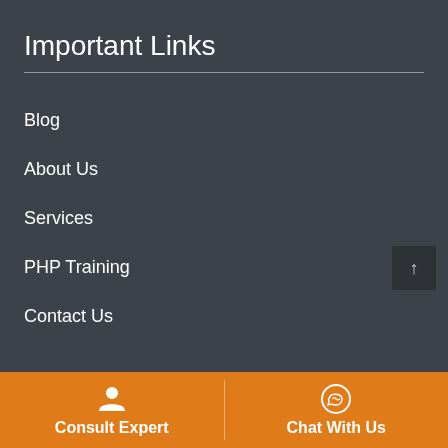Important Links
Blog
About Us
Services
PHP Training
Contact Us
Consult Expert   Chat With Us